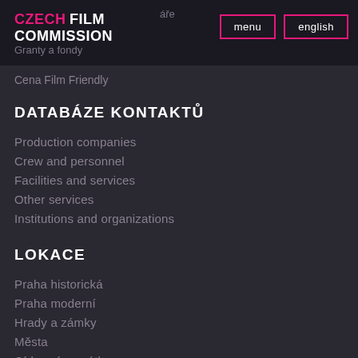CZECH FILM COMMISSION | Granty a fondy | menu | english
Cena Film Friendly
DATABÁZE KONTAKTŮ
Production companies
Crew and personnel
Facilities and services
Other services
Institutions and organizations
LOKACE
Praha historická
Praha moderní
Hrady a zámky
Města
Církevní památky
Příroda
Venkov